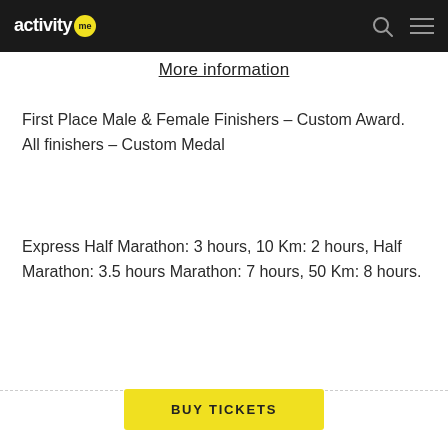activity me
More information
First Place Male & Female Finishers - Custom Award. All finishers - Custom Medal
Express Half Marathon: 3 hours, 10 Km: 2 hours, Half Marathon: 3.5 hours Marathon: 7 hours, 50 Km: 8 hours.
BUY TICKETS